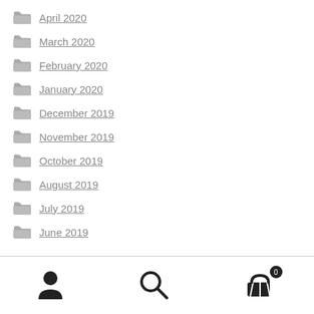April 2020
March 2020
February 2020
January 2020
December 2019
November 2019
October 2019
August 2019
July 2019
June 2019
[Figure (other): Bottom navigation bar with user icon, search icon, and cart icon with badge showing 0]